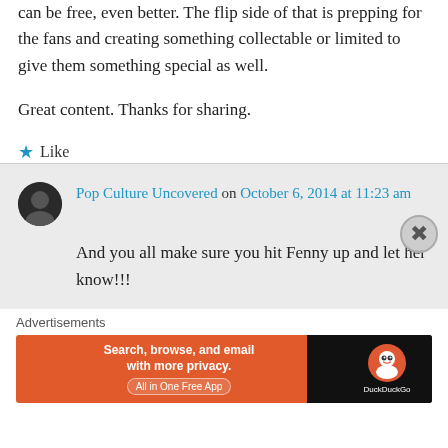can be free, even better. The flip side of that is prepping for the fans and creating something collectable or limited to give them something special as well.
Great content. Thanks for sharing.
★ Like
Pop Culture Uncovered on October 6, 2014 at 11:23 am
And you all make sure you hit Fenny up and let her know!!!
Advertisements
[Figure (screenshot): DuckDuckGo advertisement banner: orange left panel with text 'Search, browse, and email with more privacy. All in One Free App', and black right panel with DuckDuckGo duck logo and 'DuckDuckGo' label.]